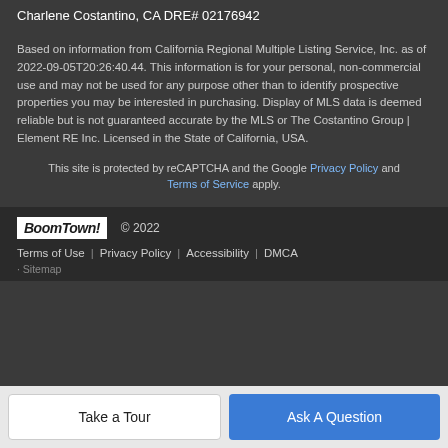Charlene Costantino, CA DRE# 02176942
Based on information from California Regional Multiple Listing Service, Inc. as of 2022-09-05T20:26:40.44. This information is for your personal, non-commercial use and may not be used for any purpose other than to identify prospective properties you may be interested in purchasing. Display of MLS data is deemed reliable but is not guaranteed accurate by the MLS or The Costantino Group | Element RE Inc. Licensed in the State of California, USA.
This site is protected by reCAPTCHA and the Google Privacy Policy and Terms of Service apply.
BoomTown! © 2022 Terms of Use | Privacy Policy | Accessibility | DMCA